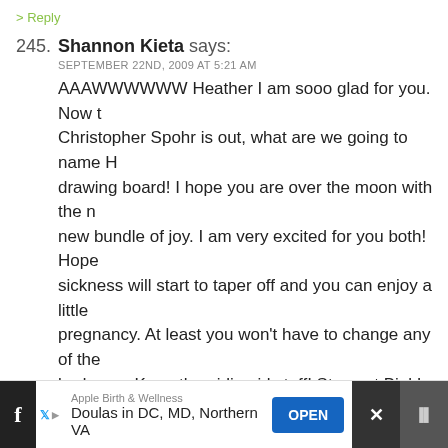> Reply
245. Shannon Kieta says: SEPTEMBER 22ND, 2009 AT 5:21 AM
AAAWWWWWW Heather I am sooo glad for you. Now that Christopher Spohr is out, what are we going to name H drawing board! I hope you are over the moon with the new bundle of joy. I am very excited for you both! Hope sickness will start to taper off and you can enjoy a little pregnancy. At least you won't have to change any of the bedroom. Keep the girlie girl stuff! Stay put Bink! We re name now! Get crackin' on that now we know she is a sh throwing some of my favorites out there!
1. Mandy Spohr
2. Juliette Spohr
3. Emiliee Spohr
4. Lauren Nicole Spohr
5. Miranda Spohr
Apple Birth & Wellness Doulas in DC, MD, Northern VA OPEN